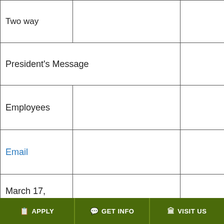| Two way |  |
| President's Message |  |  |
| Employees |  |
| Email |  |
| March 17, 2021 |  |
| One way |  |
| 11th Annual NLC Pedagogy Conference  with Dr. Donald Lucas (Zoom) |  |  |
APPLY   GET INFO   VISIT US